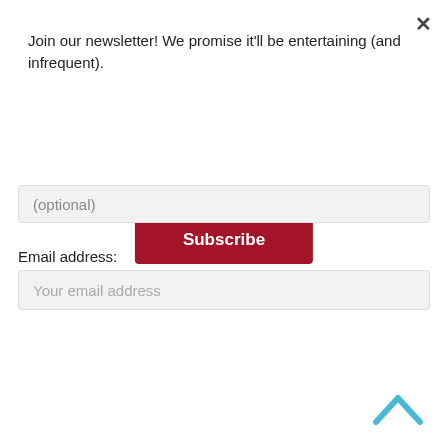×
Join our newsletter! We promise it'll be entertaining (and infrequent).
Subscribe
(optional)
Email address:
Your email address
Sign up
[Figure (other): Chevron/caret up arrow icon in light blue]